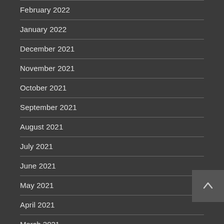February 2022
January 2022
December 2021
November 2021
October 2021
September 2021
August 2021
July 2021
June 2021
May 2021
April 2021
March 2021